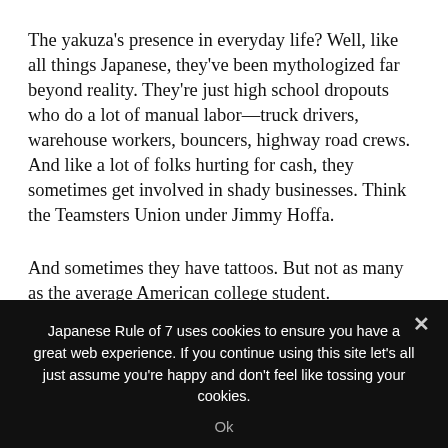The yakuza's presence in everyday life? Well, like all things Japanese, they've been mythologized far beyond reality. They're just high school dropouts who do a lot of manual labor—truck drivers, warehouse workers, bouncers, highway road crews. And like a lot of folks hurting for cash, they sometimes get involved in shady businesses. Think the Teamsters Union under Jimmy Hoffa.
And sometimes they have tattoos. But not as many as the average American college student.
Japanese Rule of 7 uses cookies to ensure you have a great web experience. If you continue using this site let's all just assume you're happy and don't feel like tossing your cookies.